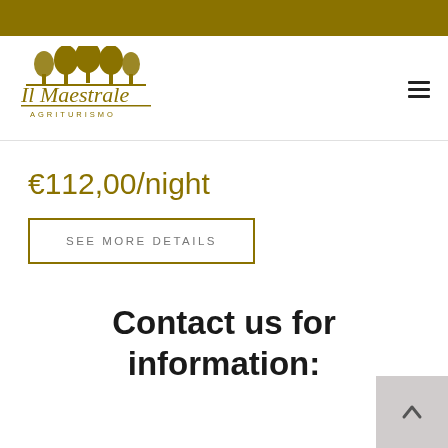[Figure (logo): Il Maestrale Agriturismo logo with stylized trees above the text]
€112,00/night
SEE MORE DETAILS
Contact us for information: